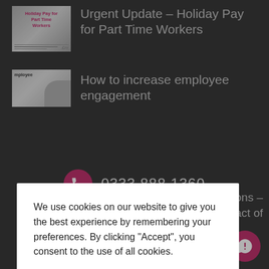Urgent Update – Holiday Pay for Part Time Workers
[Figure (photo): Thumbnail image for Holiday Pay for Part Time Workers article]
How to increase employee engagement
[Figure (photo): Thumbnail image for employee engagement article showing a person]
ictions – contract of
We use cookies on our website to give you the best experience by remembering your preferences. By clicking “Accept”, you consent to the use of all cookies.
Cookie Settings
Accept
0333 888 1360
[Figure (infographic): Social media icons: Facebook, LinkedIn, Twitter, Search, and phone/chat icons]